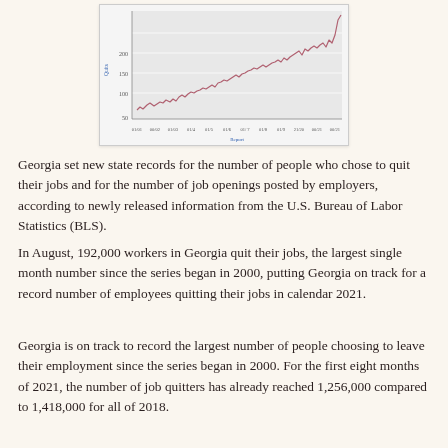[Figure (continuous-plot): Line chart showing Georgia job quits (in thousands) over time from approximately 2001 to 2021. The Y-axis shows values from about 50 to 200+ (labeled in thousands). The X-axis shows years/dates. The line trends generally upward over time, with a sharp spike near the end (2021) reaching record levels around 200,000.]
Georgia set new state records for the number of people who chose to quit their jobs and for the number of job openings posted by employers, according to newly released information from the U.S. Bureau of Labor Statistics (BLS).
In August, 192,000 workers in Georgia quit their jobs, the largest single month number since the series began in 2000, putting Georgia on track for a record number of employees quitting their jobs in calendar 2021.
Georgia is on track to record the largest number of people choosing to leave their employment since the series began in 2000. For the first eight months of 2021, the number of job quitters has already reached 1,256,000 compared to 1,418,000 for all of 2018.